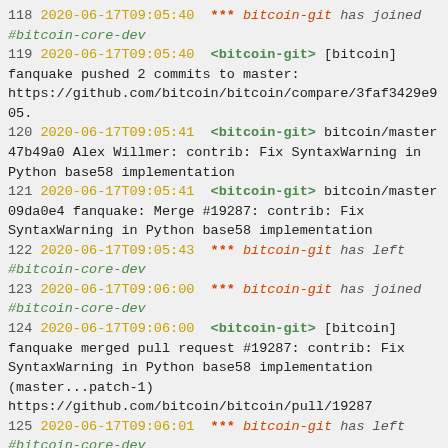118 2020-06-17T09:05:40 *** bitcoin-git has joined #bitcoin-core-dev
119 2020-06-17T09:05:40 <bitcoin-git> [bitcoin] fanquake pushed 2 commits to master: https://github.com/bitcoin/bitcoin/compare/3faf3429e905.
120 2020-06-17T09:05:41 <bitcoin-git> bitcoin/master 47b49a0 Alex Willmer: contrib: Fix SyntaxWarning in Python base58 implementation
121 2020-06-17T09:05:41 <bitcoin-git> bitcoin/master 09da0e4 fanquake: Merge #19287: contrib: Fix SyntaxWarning in Python base58 implementation
122 2020-06-17T09:05:43 *** bitcoin-git has left #bitcoin-core-dev
123 2020-06-17T09:06:00 *** bitcoin-git has joined #bitcoin-core-dev
124 2020-06-17T09:06:00 <bitcoin-git> [bitcoin] fanquake merged pull request #19287: contrib: Fix SyntaxWarning in Python base58 implementation (master...patch-1) https://github.com/bitcoin/bitcoin/pull/19287
125 2020-06-17T09:06:01 *** bitcoin-git has left #bitcoin-core-dev
126 2020-06-17T09:10:36 *** earthsound has quit IRC
127 2020-06-17T09:16:11 *** S3RK has joined #bitcoin-core-dev
128 2020-06-17T09:17:46 *** filchef has joined #bitcoin-core-dev
129 2020-06-17T09:20:02 *** rch01 has joined